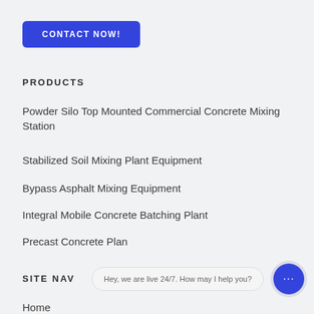CONTACT NOW!
PRODUCTS
Powder Silo Top Mounted Commercial Concrete Mixing Station
Stabilized Soil Mixing Plant Equipment
Bypass Asphalt Mixing Equipment
Integral Mobile Concrete Batching Plant
Precast Concrete Plan
SITE NAV
Hey, we are live 24/7. How may I help you?
Home